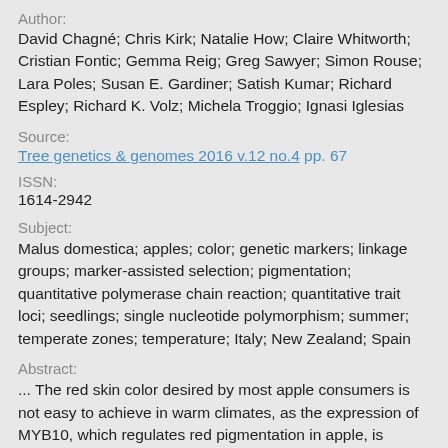Author:
David Chagné; Chris Kirk; Natalie How; Claire Whitworth; Cristian Fontic; Gemma Reig; Greg Sawyer; Simon Rouse; Lara Poles; Susan E. Gardiner; Satish Kumar; Richard Espley; Richard K. Volz; Michela Troggio; Ignasi Iglesias
Source:
Tree genetics & genomes 2016 v.12 no.4 pp. 67
ISSN:
1614-2942
Subject:
Malus domestica; apples; color; genetic markers; linkage groups; marker-assisted selection; pigmentation; quantitative polymerase chain reaction; quantitative trait loci; seedlings; single nucleotide polymorphism; summer; temperate zones; temperature; Italy; New Zealand; Spain
Abstract:
... The red skin color desired by most apple consumers is not easy to achieve in warm climates, as the expression of MYB10, which regulates red pigmentation in apple, is